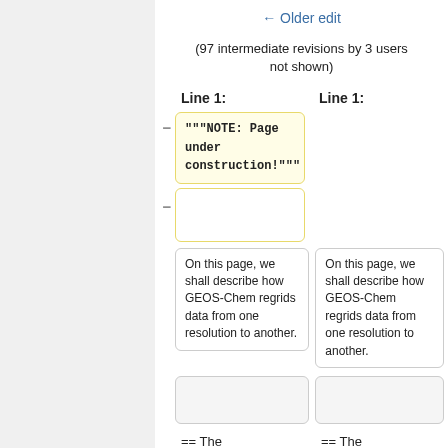← Older edit
(97 intermediate revisions by 3 users not shown)
Line 1:   Line 1:
"""NOTE: Page under construction!"""
(empty diff cell)
On this page, we shall describe how GEOS-Chem regrids data from one resolution to another.
On this page, we shall describe how GEOS-Chem regrids data from one resolution to another.
== The
== The